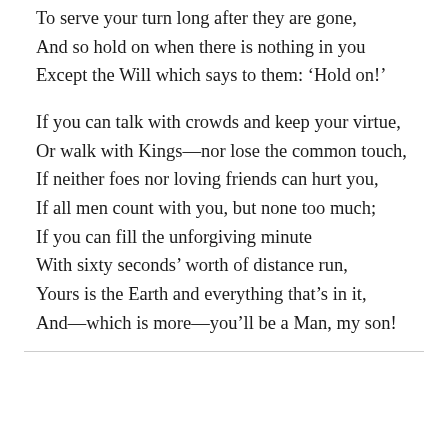To serve your turn long after they are gone,
And so hold on when there is nothing in you
Except the Will which says to them: ‘Hold on!’

If you can talk with crowds and keep your virtue,
Or walk with Kings—nor lose the common touch,
If neither foes nor loving friends can hurt you,
If all men count with you, but none too much;
If you can fill the unforgiving minute
With sixty seconds’ worth of distance run,
Yours is the Earth and everything that’s in it,
And—which is more—you’ll be a Man, my son!